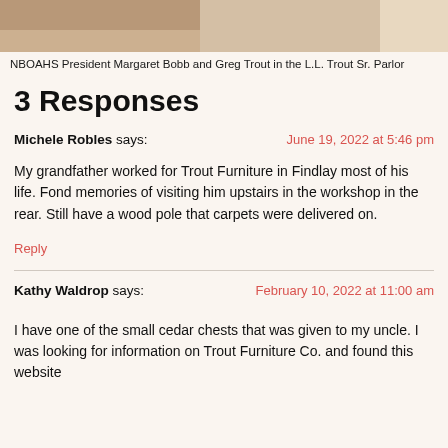[Figure (photo): Cropped bottom portion of a photo showing two people, partially visible from torso down]
NBOAHS President Margaret Bobb and Greg Trout in the L.L. Trout Sr. Parlor
3 Responses
Michele Robles says:
June 19, 2022 at 5:46 pm
My grandfather worked for Trout Furniture in Findlay most of his life. Fond memories of visiting him upstairs in the workshop in the rear. Still have a wood pole that carpets were delivered on.
Reply
Kathy Waldrop says:
February 10, 2022 at 11:00 am
I have one of the small cedar chests that was given to my uncle. I was looking for information on Trout Furniture Co. and found this website